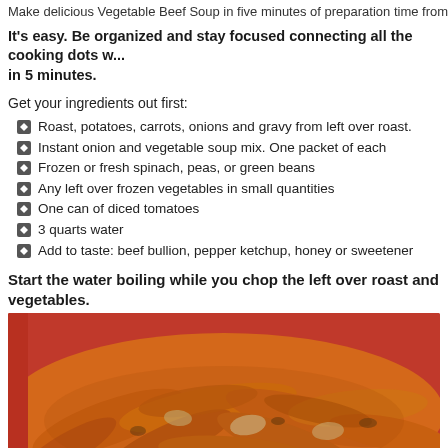Make delicious Vegetable Beef Soup in five minutes of preparation time from le...
It's easy. Be organized and stay focused connecting all the cooking dots w... in 5 minutes.
Get your ingredients out first:
Roast, potatoes, carrots, onions and gravy from left over roast.
Instant onion and vegetable soup mix.  One packet of each
Frozen or fresh spinach, peas, or green beans
Any left over frozen vegetables in small quantities
One can of diced tomatoes
3 quarts water
Add to taste:  beef bullion, pepper ketchup, honey or sweetener
Start  the water boiling while you  chop the left over roast and vegetables.
[Figure (photo): Close-up photo of cooked carrots and vegetables with gravy/sauce in a red bowl or dish]